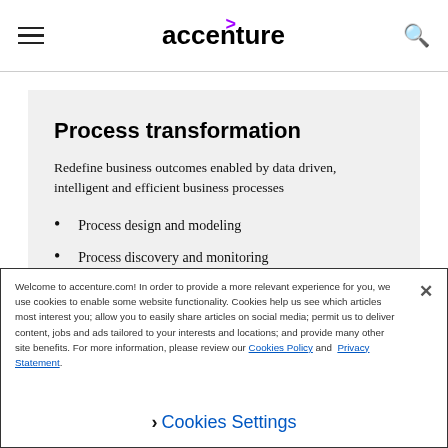accenture (logo with hamburger menu and search icon)
Process transformation
Redefine business outcomes enabled by data driven, intelligent and efficient business processes
Process design and modeling
Process discovery and monitoring
Welcome to accenture.com! In order to provide a more relevant experience for you, we use cookies to enable some website functionality. Cookies help us see which articles most interest you; allow you to easily share articles on social media; permit us to deliver content, jobs and ads tailored to your interests and locations; and provide many other site benefits. For more information, please review our Cookies Policy and Privacy Statement.
Cookies Settings